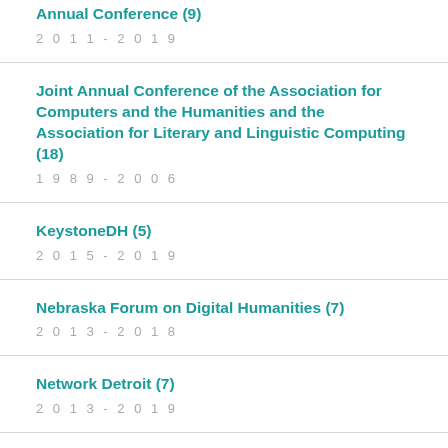Annual Conference (9)
2011 - 2019
Joint Annual Conference of the Association for Computers and the Humanities and the Association for Literary and Linguistic Computing (18)
1989 - 2006
KeystoneDH (5)
2015 - 2019
Nebraska Forum on Digital Humanities (7)
2013 - 2018
Network Detroit (7)
2013 - 2019
Pacific Neighborhood Consortium (1)
2019